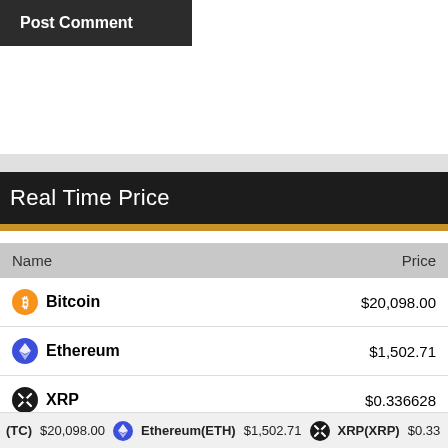[Figure (screenshot): Post Comment button — dark background with white bold text]
Real Time Price
| Name | Price |
| --- | --- |
| Bitcoin | $20,098.00 |
| Ethereum | $1,502.71 |
| XRP | $0.336628 |
| TRON | $0.063162 |
(TC) $20,098.00   Ethereum(ETH) $1,502.71   XRP(XRP) $0.33